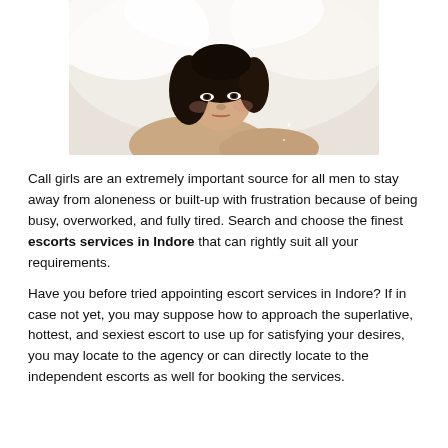[Figure (photo): A young woman with dark hair lying on white fabric, looking at the camera]
Call girls are an extremely important source for all men to stay away from aloneness or built-up with frustration because of being busy, overworked, and fully tired. Search and choose the finest escorts services in Indore that can rightly suit all your requirements.
Have you before tried appointing escort services in Indore? If in case not yet, you may suppose how to approach the superlative, hottest, and sexiest escort to use up for satisfying your desires, you may locate to the agency or can directly locate to the independent escorts as well for booking the services.